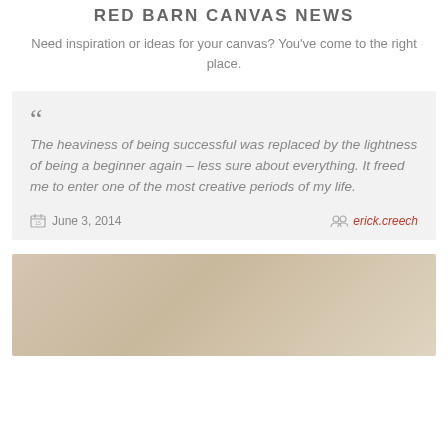RED BARN CANVAS NEWS
Need inspiration or ideas for your canvas? You've come to the right place.
" The heaviness of being successful was replaced by the lightness of being a beginner again – less sure about everything. It freed me to enter one of the most creative periods of my life.
June 3, 2014   erick.creech
[Figure (photo): A tan/beige colored canvas or surface photo, partially visible at the bottom of the page.]